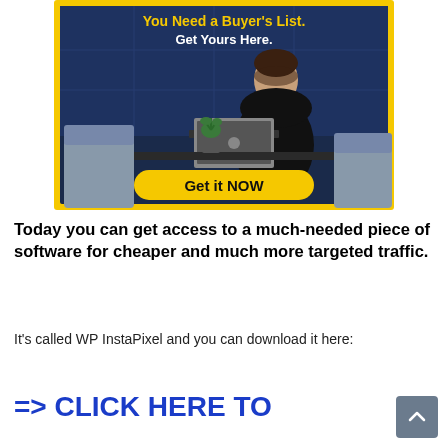[Figure (illustration): Advertisement banner with dark blue background showing a man working on a laptop at a table with a plant. Yellow border frame. Text: 'You Need a Buyer's List. Get Yours Here.' with a yellow 'Get it NOW' button at the bottom.]
Today you can get access to a much-needed piece of software for cheaper and much more targeted traffic.
It's called WP InstaPixel and you can download it here:
=> CLICK HERE TO DOWNLOAD